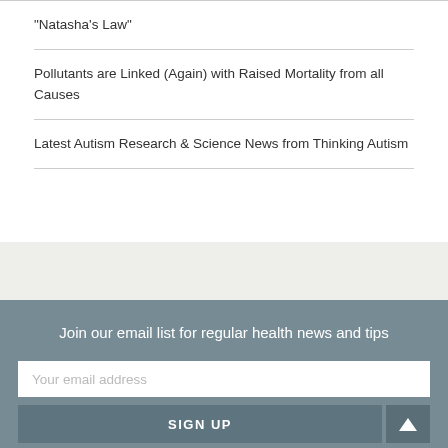"Natasha's Law"
Pollutants are Linked (Again) with Raised Mortality from all Causes
Latest Autism Research & Science News from Thinking Autism
Join our email list for regular health news and tips
Your email address
SIGN UP